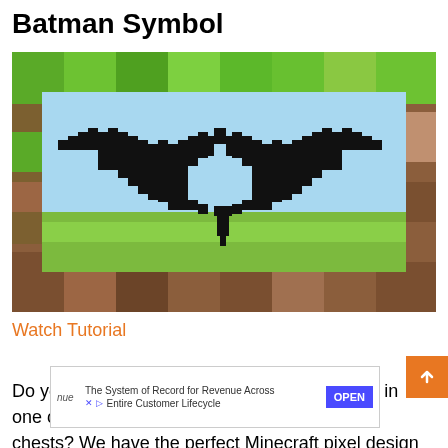Batman Symbol
[Figure (screenshot): A Minecraft pixel-art Batman symbol (black bat shape) on a background of Minecraft blocks — green grass at the top, blue sky behind the bat, and brown dirt at the bottom. The bat is rendered in large black pixels against a light blue sky area.]
Watch Tutorial
Do you have some spare Black wool forgotten in one of yo... chests? We have the perfect Minecraft pixel design for your... The... it gills, and
[Figure (infographic): Advertisement overlay: nue logo, text 'The System of Record for Revenue Across Entire Customer Lifecycle', OPEN button. Also a back-to-top orange arrow button.]